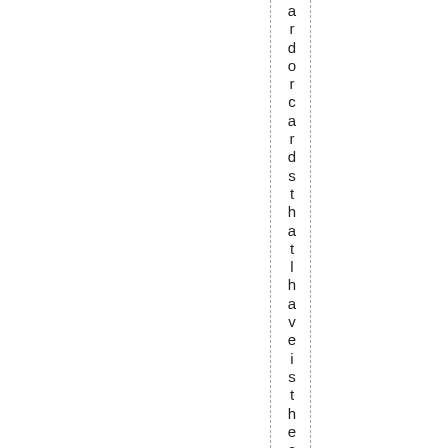ardorcardsthatlhaveisthecompet